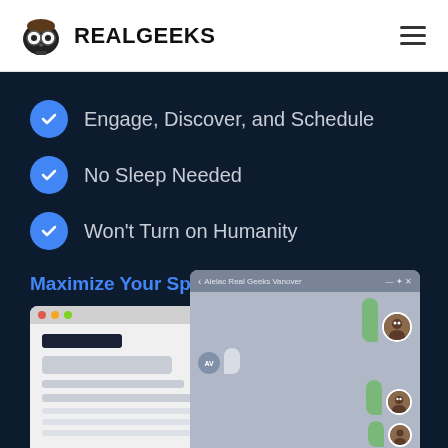RealGeeks
Engage, Discover, and Schedule
No Sleep Needed
Won't Turn on Humanity
Maximize Your Speed-To-Lead →
[Figure (screenshot): Screenshot of a chat interface showing a browser window and a chat window with green and grey message bubbles and avatars. The chat window title reads 'Alelac Real Geeks Vanover'.]